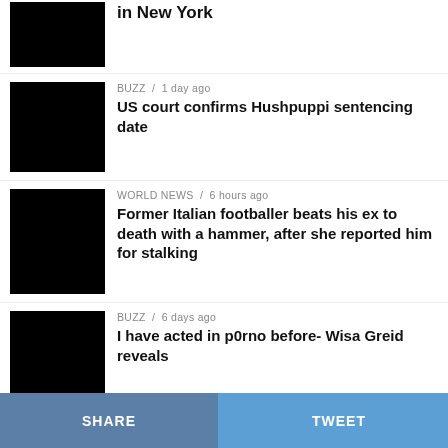BUZZ / 1 day ago — US court confirms Hushpuppi sentencing date
WORLD NEWS / 6 hours ago — Former Italian footballer beats his ex to death with a hammer, after she reported him for stalking
BUZZ / 6 days ago — I have acted in p0rno before- Wisa Greid reveals
BUZZ / 4 days ago — Watch: Reggie Rockstone's wife, Zilla involved in a car accident while on live camera
SHARE   TWEET   ...